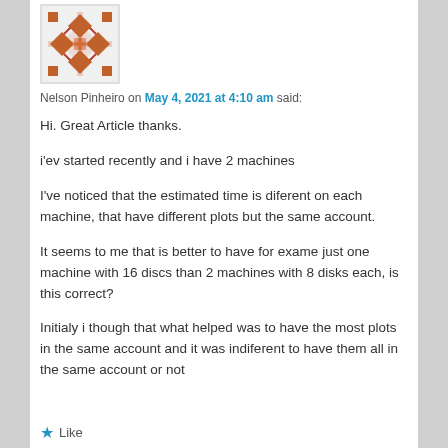[Figure (illustration): Geometric avatar icon with orange/rust colored diamond and cross patterns on white background]
Nelson Pinheiro on May 4, 2021 at 4:10 am said:
Hi. Great Article thanks.
i'ev started recently and i have 2 machines
I've noticed that the estimated time is diferent on each machine, that have different plots but the same account.
It seems to me that is better to have for exame just one machine with 16 discs than 2 machines with 8 disks each, is this correct?
Initialy i though that what helped was to have the most plots in the same account and it was indiferent to have them all in the same account or not
★ Like